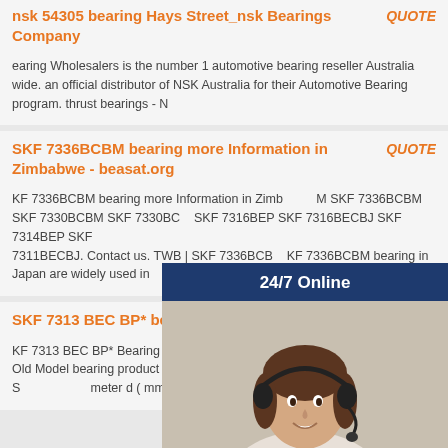nsk 54305 bearing Hays Street_nsk Bearings Company   QUOTE
earing Wholesalers is the number 1 automotive bearing reseller Australia wide. an official distributor of NSK Australia for their Automotive Bearing program. thrust bearings - N
SKF 7336BCBM bearing more Information in Zimbabwe - beasat.org   QUOTE
KF 7336BCBM bearing more Information in Zimbabwe SKF 7336BCBM SKF 7330BCBM SKF 7330BCM SKF 7316BEP SKF 7316BECBJ SKF 7314BEP SKF 7311BECBJ. Contact us. TWB | SKF 7336BCBM 7336BCBM bearing in Japan are widely used in ture, compressors, motors a
SKF 7313 BEC BP* bearing - asiabearings.com   QUOTE
KF 7313 BEC BP* Bearing Details： Bearing Name Model 7313BECBP* Old Model bearing product Category Angular Contact Ball Bearings Brand S meter d ( mm ) 65 Outer Diameter D ( mm ) 140
[Figure (illustration): Overlay popup showing a customer service representative wearing a headset, with a '24/7 Online' header, 'Have any requests, click here.' message, and an orange 'Quotation' button, on a dark navy blue background.]